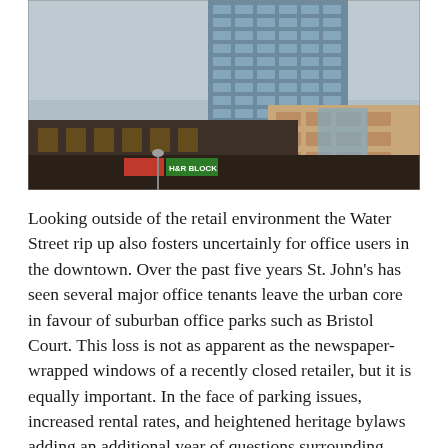[Figure (photo): Exterior photograph of a modern multi-story glass office tower behind a lower brown-facade commercial building. Storefront signage including H&R Block is visible at street level. Overcast sky in background.]
Looking outside of the retail environment the Water Street rip up also fosters uncertainly for office users in the downtown. Over the past five years St. John's has seen several major office tenants leave the urban core in favour of suburban office parks such as Bristol Court. This loss is not as apparent as the newspaper-wrapped windows of a recently closed retailer, but it is equally important. In the face of parking issues, increased rental rates, and heightened heritage bylaws adding an additional year of questions surrounding accessibility and traffic will further erode office tenant the urban base. This will not only slow…